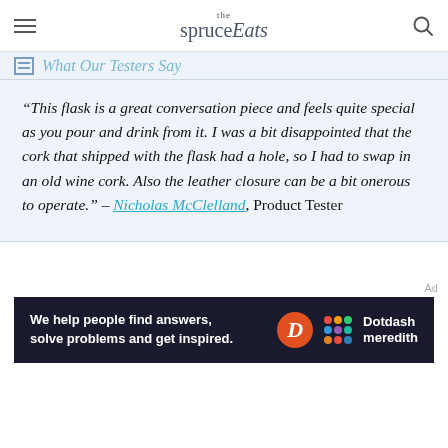the spruce Eats
What Our Testers Say
“This flask is a great conversation piece and feels quite special as you pour and drink from it. I was a bit disappointed that the cork that shipped with the flask had a hole, so I had to swap in an old wine cork. Also the leather closure can be a bit onerous to operate.” – Nicholas McClelland, Product Tester
[Figure (other): Dotdash Meredith advertisement banner: 'We help people find answers, solve problems and get inspired.' with Dotdash Meredith logo]